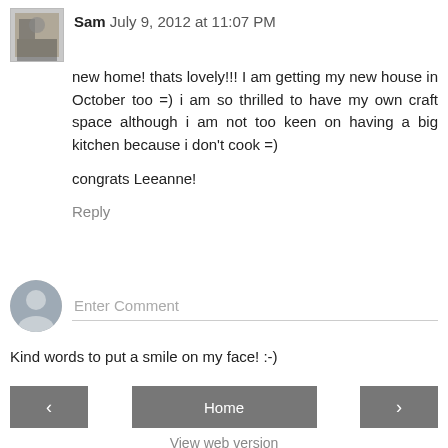[Figure (photo): Small avatar photo of commenter Sam, showing a person standing indoors]
Sam July 9, 2012 at 11:07 PM
new home! thats lovely!!! I am getting my new house in October too =) i am so thrilled to have my own craft space although i am not too keen on having a big kitchen because i don't cook =)

congrats Leeanne!
Reply
[Figure (illustration): Generic gray user avatar circle icon for Enter Comment input area]
Enter Comment
Kind words to put a smile on my face! :-)
‹
Home
›
View web version
Powered by Blogger.